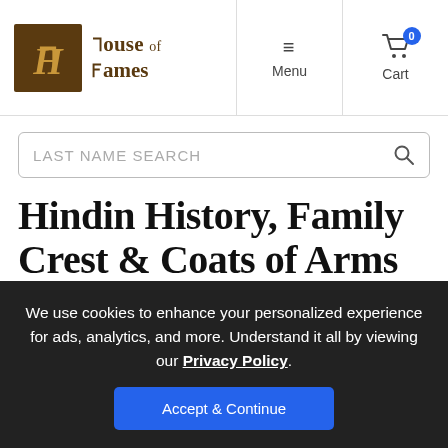House of Names — Menu | Cart
LAST NAME SEARCH
Hindin History, Family Crest & Coats of Arms
Origins Available: England
We use cookies to enhance your personalized experience for ads, analytics, and more. Understand it all by viewing our Privacy Policy. Accept & Continue